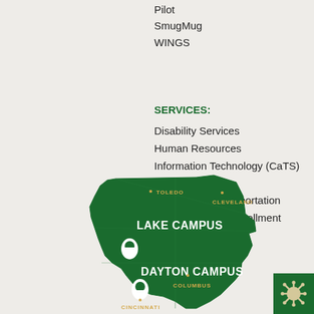Pilot
SmugMug
WINGS
SERVICES:
Disability Services
Human Resources
Information Technology (CaTS)
Libraries
Parking and Transportation
RaiderConnect (Enrollment Services)
[Figure (map): Map of Ohio showing Wright State University campus locations: Lake Campus in northwest Ohio and Dayton Campus in southwest Ohio, with city labels for Toledo, Cleveland, Columbus, Cincinnati, and location pin markers.]